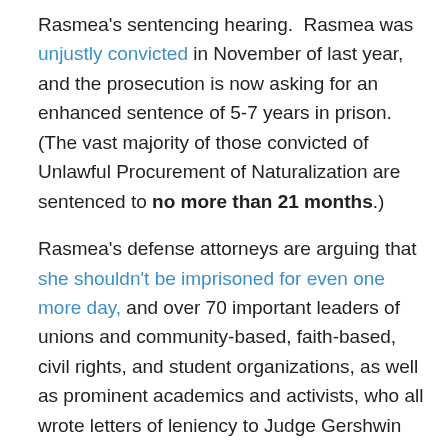Rasmea's sentencing hearing. Rasmea was unjustly convicted in November of last year, and the prosecution is now asking for an enhanced sentence of 5-7 years in prison. (The vast majority of those convicted of Unlawful Procurement of Naturalization are sentenced to no more than 21 months.)
Rasmea's defense attorneys are arguing that she shouldn't be imprisoned for even one more day, and over 70 important leaders of unions and community-based, faith-based, civil rights, and student organizations, as well as prominent academics and activists, who all wrote letters of leniency to Judge Gershwin Drain, agree.
In addition, it must be made clear that Rasmea will be appealing the conviction regardless of the outcome of the sentencing, so visit the national Rasmea Defense